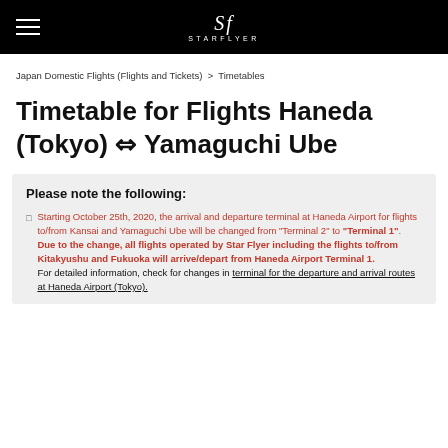STARFLYER
Japan Domestic Flights (Flights and Tickets) > Timetables
Timetable for Flights Haneda (Tokyo) ⇔ Yamaguchi Ube
Please note the following:
Starting October 25th, 2020, the arrival and departure terminal at Haneda Airport for flights to/from Kansai and Yamaguchi Ube will be changed from "Terminal 2" to "Terminal 1". Due to the change, all flights operated by Star Flyer including the flights to/from Kitakyushu and Fukuoka will arrive/depart from Haneda Airport Terminal 1. For detailed information, check for changes in terminal for the departure and arrival routes at Haneda Airport (Tokyo).